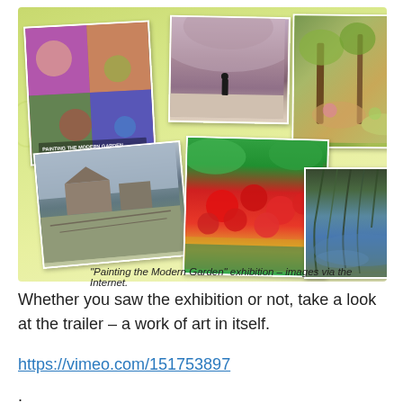[Figure (photo): A collage of images from the 'Painting the Modern Garden' exhibition including a book cover, museum interior with silhouette figure, garden paintings, farmhouse landscape, poppy field, and water lilies, all arranged on a green-yellow background.]
“Painting the Modern Garden” exhibition – images via the Internet.
Whether you saw the exhibition or not, take a look at the trailer – a work of art in itself.
https://vimeo.com/151753897
.